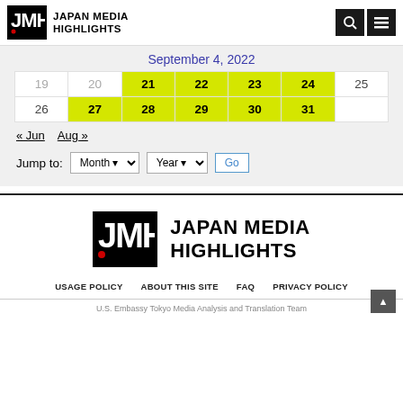JAPAN MEDIA HIGHLIGHTS
September 4, 2022
| 19 | 20 | 21 | 22 | 23 | 24 | 25 |
| 26 | 27 | 28 | 29 | 30 | 31 |  |
« Jun   Aug »
Jump to: Month ▾ Year ▾ Go
[Figure (logo): Japan Media Highlights logo - large footer version with JMH emblem in black box and bold text]
USAGE POLICY   ABOUT THIS SITE   FAQ   PRIVACY POLICY
U.S. Embassy Tokyo Media Analysis and Translation Team